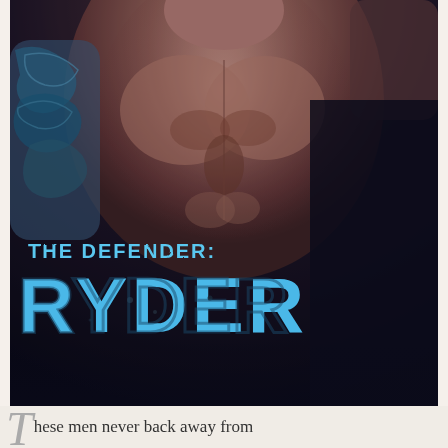[Figure (illustration): Book cover image showing muscular male torso with tattoo on left arm, dark moody background with blue and dark tones. Title 'THE DEFENDER: RYDER' in large blue distressed font. Author name 'LISA B. KAMPS' with 'USA TODAY BESTSELLING AUTHOR' rotated vertically on right side.]
These men never back away from